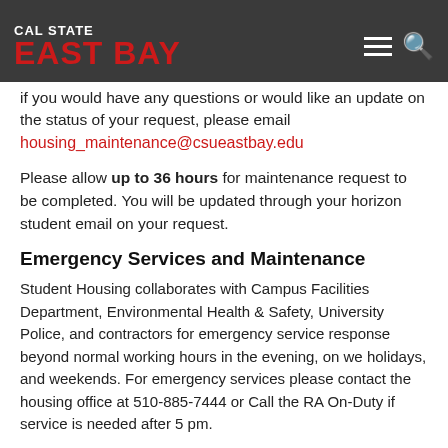CAL STATE EAST BAY
if you would have any questions or would like an update on the status of your request, please email housing_maintenance@csueastbay.edu
Please allow up to 36 hours for maintenance request to be completed. You will be updated through your horizon student email on your request.
Emergency Services and Maintenance
Student Housing collaborates with Campus Facilities Department, Environmental Health & Safety, University Police, and contractors for emergency service response beyond normal working hours in the evening, on we holidays, and weekends. For emergency services please contact the housing office at 510-885-7444 or Call the RA On-Duty if service is needed after 5 pm.
Examples of emergency services include: